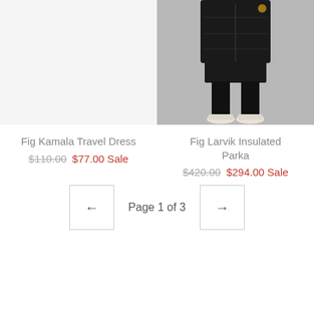[Figure (photo): Right column: photo of person wearing black insulated parka coat with black leggings and white sneakers, cropped to show torso and legs, gray background]
Fig Kamala Travel Dress
$110.00  $77.00 Sale
Fig Larvik Insulated Parka
$420.00  $294.00 Sale
Page 1 of 3